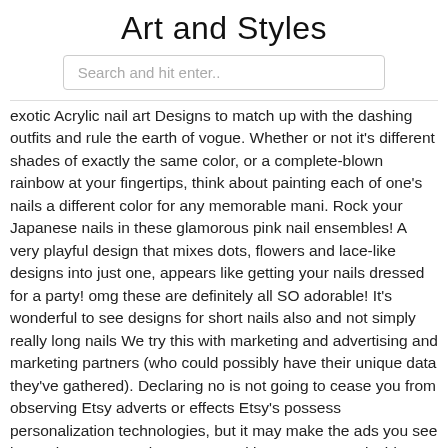Art and Styles
Search and hit enter..
exotic Acrylic nail art Designs to match up with the dashing outfits and rule the earth of vogue. Whether or not it's different shades of exactly the same color, or a complete-blown rainbow at your fingertips, think about painting each of one's nails a different color for any memorable mani. Rock your Japanese nails in these glamorous pink nail ensembles! A very playful design that mixes dots, flowers and lace-like designs into just one, appears like getting your nails dressed for a party! omg these are definitely all SO adorable! It's wonderful to see designs for short nails also and not simply really long nails We try this with marketing and advertising and marketing partners (who could possibly have their unique data they've gathered). Declaring no is not going to cease you from observing Etsy adverts or effects Etsy's possess personalization technologies, but it may make the ads you see less relevant or maybe more repetitive. Learn more inside our Cookies & Identical Systems Coverage. For those who've at any time wondered what glamorous would